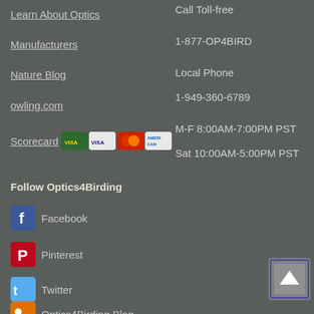Learn About Optics
Manufacturers
Nature Blog
owling.com
Scorecard
Call Toll-free
1-877-OP4BIRD
Local Phone
1-949-360-6789
M-F 8:00AM-7:00PM PST
Sat 10:00AM-5:00PM PST
Follow Optics4Birding
Facebook
Pinterest
Twitter
Optics4Birding Blog